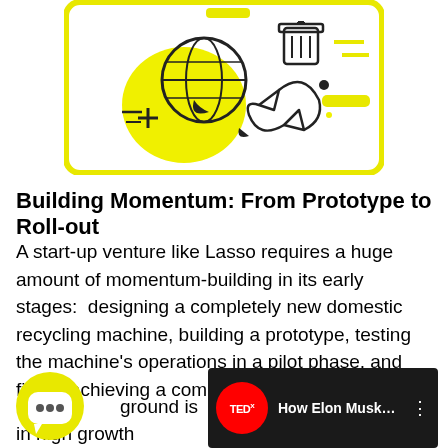[Figure (illustration): Illustration of a globe with recycling symbols, a trash can, leaves, and yellow accent shapes on a white card with yellow border. Depicts domestic recycling concept.]
Building Momentum: From Prototype to Roll-out
A start-up venture like Lasso requires a huge amount of momentum-building in its early stages:  designing a completely new domestic recycling machine, building a prototype, testing the machine's operations in a pilot phase, and finally achieving a commercial roll-out.
[Figure (screenshot): Bottom-left shows a yellow chat bubble icon with three dots. Partially visible text: 'M...ground is in high growth'. Bottom-right shows a TEDx video thumbnail with TEDx red logo circle and text 'How Elon Musk...' with three-dot menu icon on dark background.]